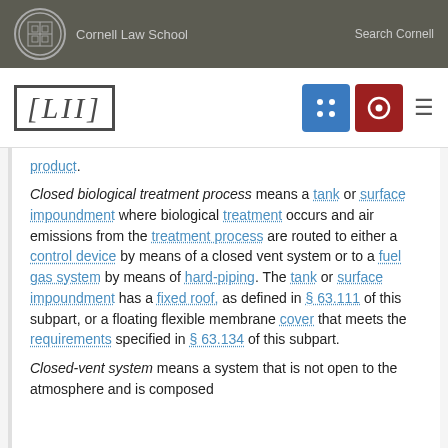Cornell Law School | Search Cornell
[LII]
product.
Closed biological treatment process means a tank or surface impoundment where biological treatment occurs and air emissions from the treatment process are routed to either a control device by means of a closed vent system or to a fuel gas system by means of hard-piping. The tank or surface impoundment has a fixed roof, as defined in § 63.111 of this subpart, or a floating flexible membrane cover that meets the requirements specified in § 63.134 of this subpart.
Closed-vent system means a system that is not open to the atmosphere and is composed